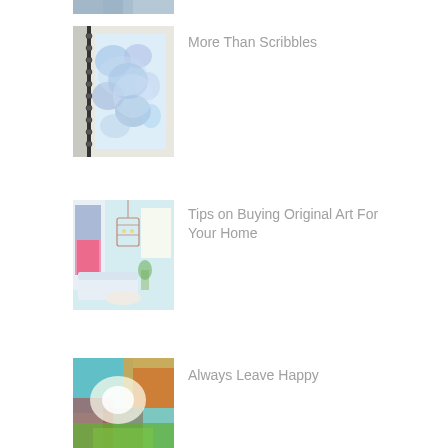[Figure (photo): Partial top image, cropped at top of page]
[Figure (photo): Spiral-bound sketchbook with blue colorful scribble art on the cover]
More Than Scribbles
[Figure (photo): Interior room with colorful abstract painting on wall, pendant light fixture, white sofa and round coffee table]
Tips on Buying Original Art For Your Home
[Figure (photo): Abstract colorful artwork with teal, green, orange, red colors and bright central light]
Always Leave Happy